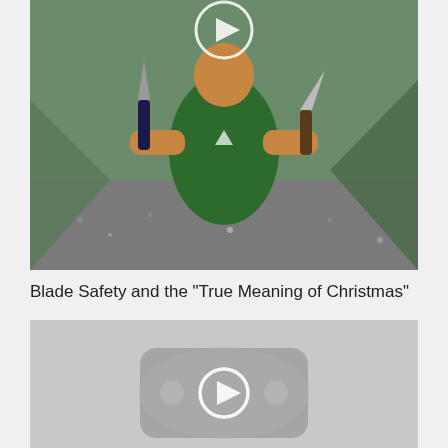[Figure (photo): Person in green t-shirt holding two knives/blades outdoors near a tent and gravel ground, with a video play button overlay]
Blade Safety and the "True Meaning of Christmas"
[Figure (screenshot): Gray placeholder video thumbnail with a YouTube-style play button icon in the center]